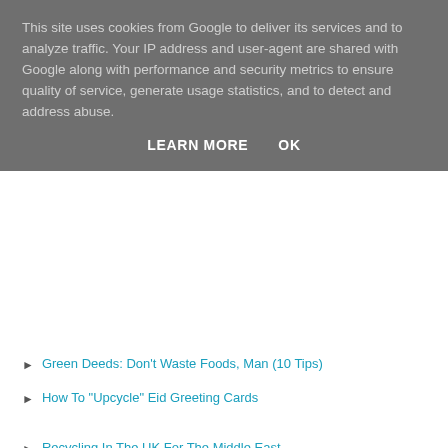This site uses cookies from Google to deliver its services and to analyze traffic. Your IP address and user-agent are shared with Google along with performance and security metrics to ensure quality of service, generate usage statistics, and to detect and address abuse.
LEARN MORE   OK
Green Deeds: Don't Waste Foods, Man (10 Tips)
How To "Upcycle" Eid Greeting Cards
Recycling In The UK For The Middle East
A Halal Day's Work At The People Produce Project
Muslims In England, British blog, (Dutch partner, Wij Blijven Hier)
Hot Men & Muslim Conversions